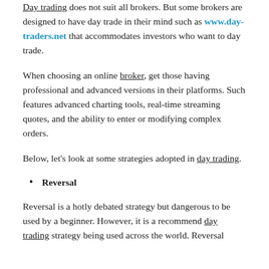Day trading does not suit all brokers. But some brokers are designed to have day trade in their mind such as www.day-traders.net that accommodates investors who want to day trade.
When choosing an online broker, get those having professional and advanced versions in their platforms. Such features advanced charting tools, real-time streaming quotes, and the ability to enter or modifying complex orders.
Below, let's look at some strategies adopted in day trading.
Reversal
Reversal is a hotly debated strategy but dangerous to be used by a beginner. However, it is a recommend day trading strategy being used across the world. Reversal